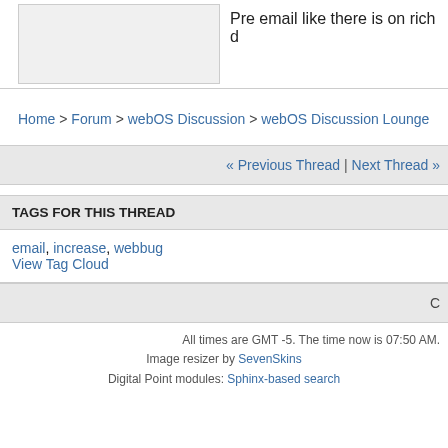[Figure (screenshot): Gray box placeholder image on left side]
Pre email like there is on rich d
Home > Forum > webOS Discussion > webOS Discussion Lounge
« Previous Thread | Next Thread »
TAGS FOR THIS THREAD
email, increase, webbug
View Tag Cloud
C
All times are GMT -5. The time now is 07:50 AM.
Image resizer by SevenSkins
Digital Point modules: Sphinx-based search